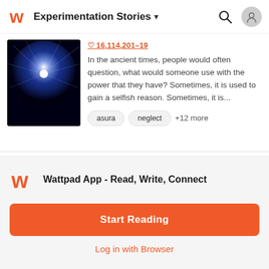Experimentation Stories
[Figure (screenshot): Story thumbnail: blue glowing light on black background]
In the ancient times, people would often question, what would someone use with the power that they have? Sometimes, it is used to gain a selfish reason. Sometimes, it is...
asura
neglect
+12 more
Wattpad App - Read, Write, Connect
Start Reading
Log in with Browser